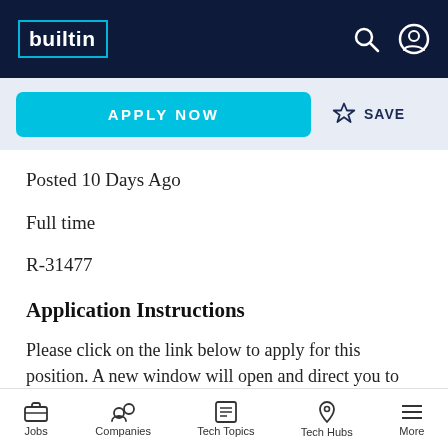builtin
APPLY NOW
SAVE
Posted 10 Days Ago
Full time
R-31477
Application Instructions
Please click on the link below to apply for this position. A new window will open and direct you to apply at our corporate
Jobs  Companies  Tech Topics  Tech Hubs  More